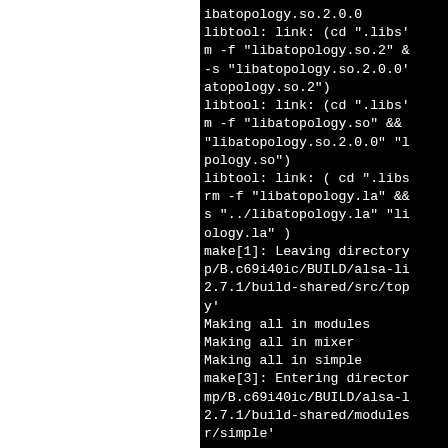ibatopology.so.2.0.0
libtool: link: (cd ".libs'
m -f "libatopology.so.2" &
-s "libatopology.so.2.0.0'
atopology.so.2")
libtool: link: (cd ".libs'
m -f "libatopology.so" &&
"libatopology.so.2.0.0" "l
pology.so")
libtool: link: ( cd ".libs
rm -f "libatopology.la" &&
s "../libatopology.la" "li
ology.la" )
make[1]: Leaving directory
p/B.c69i40ic/BUILD/alsa-li
2.7.1/build-shared/src/top
y'
Making all in modules
Making all in mixer
Making all in simple
make[3]: Entering director
mp/B.c69i40ic/BUILD/alsa-l
2.7.1/build-shared/modules
r/simple'